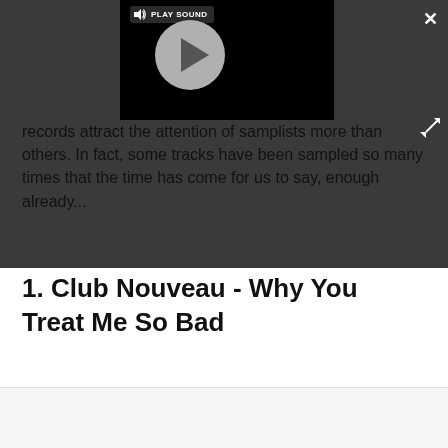[Figure (screenshot): A media player widget with a dark background, showing a circular play button on black, and a 'PLAY SOUND' label with speaker icon in the top-left corner. A close (X) button is in the top-right and an expand icon below it.]
records attract the attention of samplists more than others. In fact, some tracks have been sampled so many times that the time has come for us to say, enough already...
1. Club Nouveau - Why You Treat Me So Bad